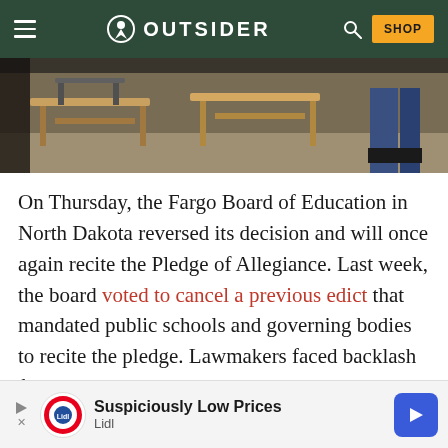OUTSIDER
[Figure (photo): Classroom with wooden school desks and chairs, partial view of student legs visible]
On Thursday, the Fargo Board of Education in North Dakota reversed its decision and will once again recite the Pledge of Allegiance. Last week, the board voted to cancel a previous edict that mandated public schools and governing bodies to recite the pledge. Lawmakers faced backlash for the decision, and have now reimplemented their original
[Figure (infographic): Lidl advertisement banner: Suspiciously Low Prices - Lidl logo with navigation arrow icon]